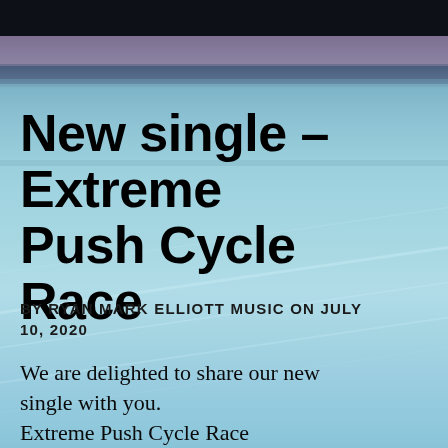[Figure (photo): Background photo of a cycling track or road surface with teal/blue tones, with dark horizontal bands at the top and diagonal light streaks across the image.]
New single – Extreme Push Cycle Race
BY RYAN MARK ELLIOTT MUSIC ON JULY 10, 2020
We are delighted to share our new single with you.
Extreme Push Cycle Race